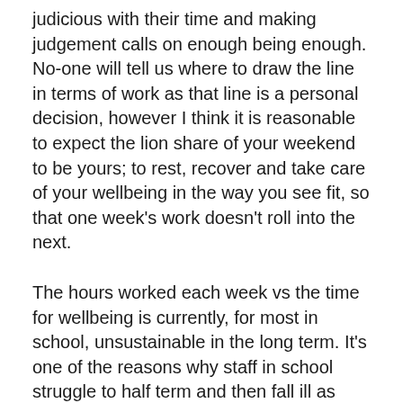judicious with their time and making judgement calls on enough being enough. No-one will tell us where to draw the line in terms of work as that line is a personal decision, however I think it is reasonable to expect the lion share of your weekend to be yours; to rest, recover and take care of your wellbeing in the way you see fit, so that one week's work doesn't roll into the next.
The hours worked each week vs the time for wellbeing is currently, for most in school, unsustainable in the long term. It's one of the reasons why staff in school struggle to half term and then fall ill as their health and wellbeing has largely been neglected for 6/7 weeks. SAS absence data has shown this trend for years in schools.